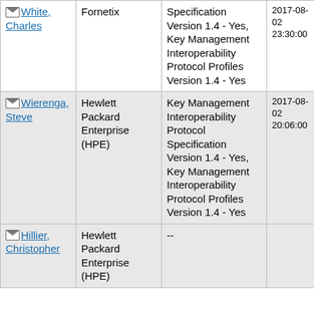| [email] White, Charles | Fornetix | Specification Version 1.4 - Yes, Key Management Interoperability Protocol Profiles Version 1.4 - Yes | 2017-08-02 23:30:00 |  |
| [email] Wierenga, Steve | Hewlett Packard Enterprise (HPE) | Key Management Interoperability Protocol Specification Version 1.4 - Yes, Key Management Interoperability Protocol Profiles Version 1.4 - Yes | 2017-08-02 20:06:00 |  |
| [email] Hillier, Christopher | Hewlett Packard Enterprise (HPE) | -- |  |  |